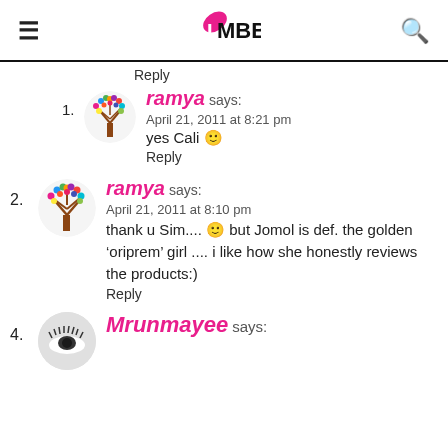IMBB (logo)
Reply
1. ramya says: April 21, 2011 at 8:21 pm — yes Cali 🙂
Reply
2. ramya says: April 21, 2011 at 8:10 pm — thank u Sim.... 🙂 but Jomol is def. the golden 'oriprem' girl .... i like how she honestly reviews the products:)
Reply
4. Mrunmayee says: